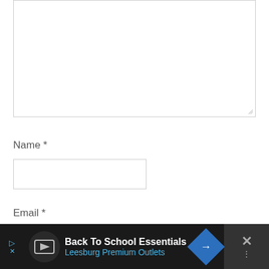[Figure (screenshot): Empty comment textarea with resize handle at bottom-right corner]
Name *
[Figure (screenshot): Empty Name text input field]
Email *
[Figure (screenshot): Empty Email text input field]
[Figure (screenshot): Advertisement banner: Back To School Essentials – Leesburg Premium Outlets, with navigation icon and close button]